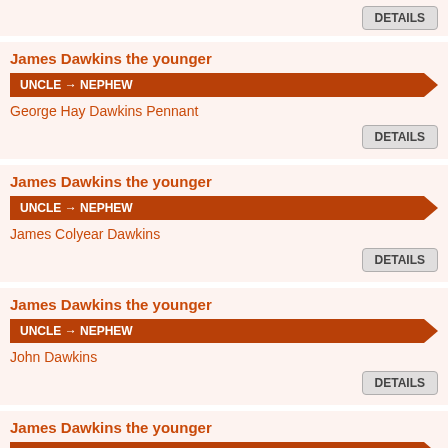DETAILS
James Dawkins the younger
UNCLE → NEPHEW
George Hay Dawkins Pennant
DETAILS
James Dawkins the younger
UNCLE → NEPHEW
James Colyear Dawkins
DETAILS
James Dawkins the younger
UNCLE → NEPHEW
John Dawkins
DETAILS
James Dawkins the younger
NEPHEW → UNCLE
James Dawkins the elder
DETAILS